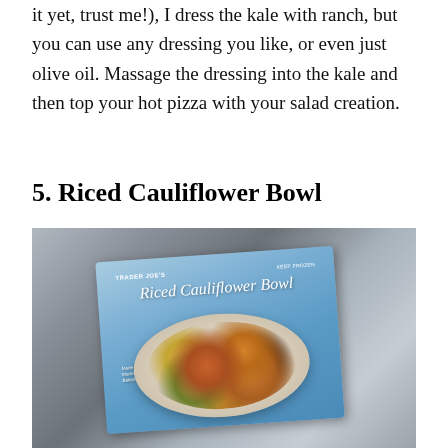it yet, trust me!), I dress the kale with ranch, but you can use any dressing you like, or even just olive oil. Massage the dressing into the kale and then top your hot pizza with your salad creation.
5. Riced Cauliflower Bowl
[Figure (photo): Trader Joe's Riced Cauliflower Bowl frozen food package on a wooden surface, showing the product box with a bowl of cauliflower rice, chickpeas, sweet potatoes, baked tofu and roasted onions. Text on box reads: Made with Tahini Sauce, Marinated Chickpeas, Sweet Potatoes, Baked Tofu & Roasted Onions.]